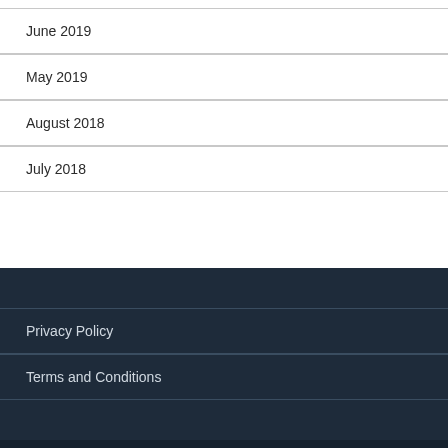June 2019
May 2019
August 2018
July 2018
Privacy Policy
Terms and Conditions